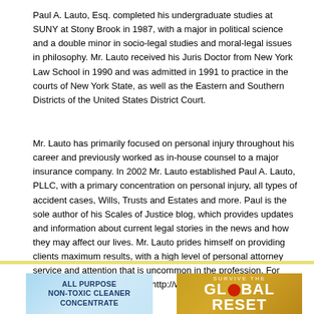Paul A. Lauto, Esq. completed his undergraduate studies at SUNY at Stony Brook in 1987, with a major in political science and a double minor in socio-legal studies and moral-legal issues in philosophy. Mr. Lauto received his Juris Doctor from New York Law School in 1990 and was admitted in 1991 to practice in the courts of New York State, as well as the Eastern and Southern Districts of the United States District Court.
Mr. Lauto has primarily focused on personal injury throughout his career and previously worked as in-house counsel to a major insurance company. In 2002 Mr. Lauto established Paul A. Lauto, PLLC, with a primary concentration on personal injury, all types of accident cases, Wills, Trusts and Estates and more. Paul is the sole author of his Scales of Justice blog, which provides updates and information about current legal stories in the news and how they may affect our lives. Mr. Lauto prides himself on providing clients maximum results, with a high level of personal attorney service and attention that is uncommon in the profession. For more information please visit http://www.liattorney.com
[Figure (illustration): Advertisement for All Purpose Non-Toxic Cleaner Concentrate with woman and product bottle on blue background]
[Figure (illustration): Advertisement for Survive the Global Reset book on gold/brown background]